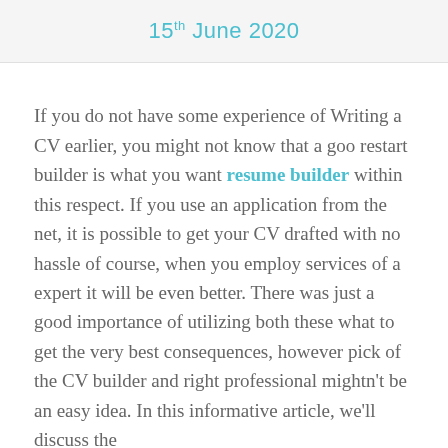15th June 2020
If you do not have some experience of Writing a CV earlier, you might not know that a goo restart builder is what you want resume builder within this respect. If you use an application from the net, it is possible to get your CV drafted with no hassle of course, when you employ services of a expert it will be even better. There was just a good importance of utilizing both these what to get the very best consequences, however pick of the CV builder and right professional mightn't be an easy idea. In this informative article, we'll discuss the